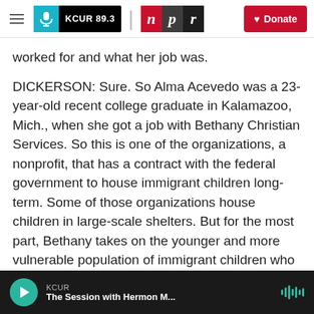KCUR 89.3 | npr | Donate
worked for and what her job was.
DICKERSON: Sure. So Alma Acevedo was a 23-year-old recent college graduate in Kalamazoo, Mich., when she got a job with Bethany Christian Services. So this is one of the organizations, a nonprofit, that has a contract with the federal government to house immigrant children long-term. Some of those organizations house children in large-scale shelters. But for the most part, Bethany takes on the younger and more vulnerable population of immigrant children who are in custody and places them in foster homes, which
KCUR
The Session with Hermon M...